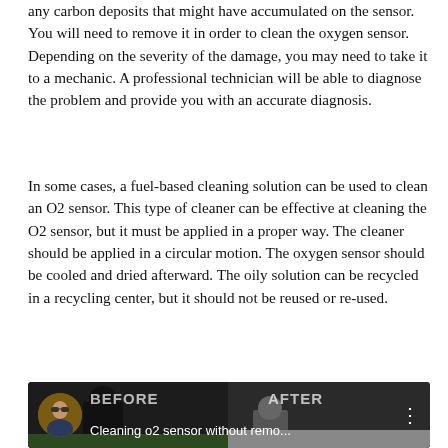any carbon deposits that might have accumulated on the sensor. You will need to remove it in order to clean the oxygen sensor. Depending on the severity of the damage, you may need to take it to a mechanic. A professional technician will be able to diagnose the problem and provide you with an accurate diagnosis.
In some cases, a fuel-based cleaning solution can be used to clean an O2 sensor. This type of cleaner can be effective at cleaning the O2 sensor, but it must be applied in a proper way. The cleaner should be applied in a circular motion. The oxygen sensor should be cooled and dried afterward. The oily solution can be recycled in a recycling center, but it should not be reused or re-used.
[Figure (screenshot): Video thumbnail showing a YouTube-style video player thumbnail with 'BEFORE' and 'AFTER' labels, a circular avatar of a person, and title text 'Cleaning o2 sensor without remo...' with a three-dot menu icon.]